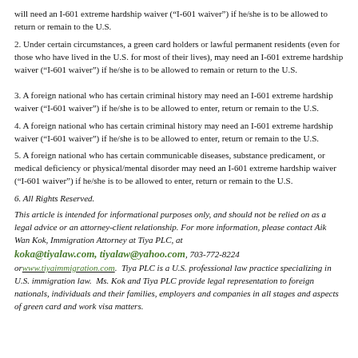will need an I-601 extreme hardship waiver (“I-601 waiver”)  if he/she is to be allowed to return or remain to the U.S.
2. Under certain circumstances, a green card holders or lawful permanent residents (even for those who have lived in the U.S. for most of their lives), may need an I-601 extreme hardship waiver (“I-601 waiver”) if he/she is to be allowed to remain or return to the U.S.
3. A foreign national who has certain criminal history may need an I-601 extreme hardship waiver (“I-601 waiver”) if he/she is to be allowed to enter, return or remain to the U.S.
4. A foreign national who has certain criminal history may need an I-601 extreme hardship waiver (“I-601 waiver”) if he/she is to be allowed to enter, return or remain to the U.S.
5. A foreign national who has certain communicable diseases, substance predicament, or medical deficiency or physical/mental disorder may need an I-601 extreme hardship waiver (“I-601 waiver”)  if he/she is to be allowed to enter, return or remain to the U.S.
6. All Rights Reserved.
This article is intended for informational purposes only, and should not be relied on as a legal advice or an attorney-client relationship. For more information, please contact Aik Wan Kok, Immigration Attorney at Tiya PLC, at koka@tiyalaw.com, tiyalaw@yahoo.com, 703-772-8224 or www.tiyaimmigration.com.  Tiya PLC is a U.S. professional law practice specializing in U.S. immigration law.  Ms. Kok and Tiya PLC provide legal representation to foreign nationals, individuals and their families, employers and companies in all stages and aspects of green card and work visa matters.